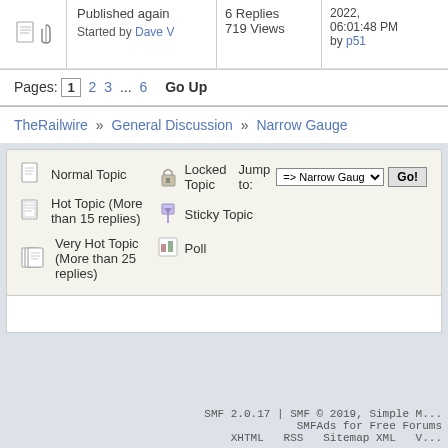| Icons | Topic | Replies/Views | Last Post |
| --- | --- | --- | --- |
| [icons] | Published again
Started by Dave V | 6 Replies
719 Views | 2022,
06:01:48 PM
by p51 |
Pages: [1] 2 3 ... 6  Go Up
TheRailwire » General Discussion » Narrow Gauge
Normal Topic | Hot Topic (More than 15 replies) | Very Hot Topic (More than 25 replies) | Locked Topic | Sticky Topic | Poll | Jump to: => Narrow Gauge [Go!]
SMF 2.0.17 | SMF © 2019, Simple M...
SMFAds for Free Forums
XHTML  RSS  Sitemap XML  V...